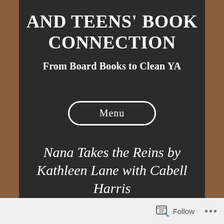AND TEENS' BOOK CONNECTION
From Board Books to Clean YA
Menu
Nana Takes the Reins by Kathleen Lane with Cabell Harris
Follow ...